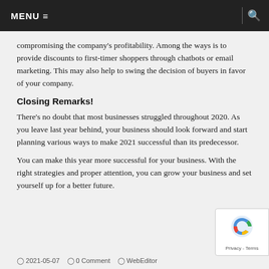MENU ≡ | 🔍
compromising the company's profitability. Among the ways is to provide discounts to first-timer shoppers through chatbots or email marketing. This may also help to swing the decision of buyers in favor of your company.
Closing Remarks!
There's no doubt that most businesses struggled throughout 2020. As you leave last year behind, your business should look forward and start planning various ways to make 2021 successful than its predecessor.
You can make this year more successful for your business. With the right strategies and proper attention, you can grow your business and set yourself up for a better future.
2021-05-07  0 Comment  WebEditor